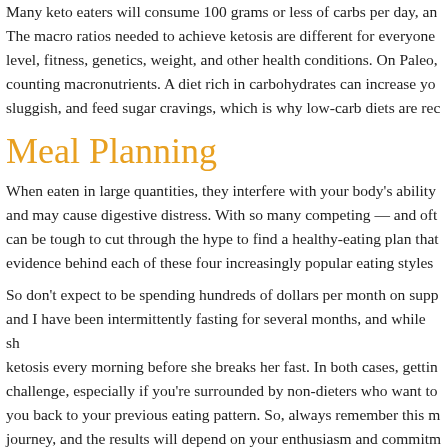Many keto eaters will consume 100 grams or less of carbs per day, and The macro ratios needed to achieve ketosis are different for everyone level, fitness, genetics, weight, and other health conditions. On Paleo, counting macronutrients. A diet rich in carbohydrates can increase yo sluggish, and feed sugar cravings, which is why low-carb diets are rec
Meal Planning
When eaten in large quantities, they interfere with your body's ability and may cause digestive distress. With so many competing — and oft can be tough to cut through the hype to find a healthy-eating plan that evidence behind each of these four increasingly popular eating styles
So don't expect to be spending hundreds of dollars per month on supp and I have been intermittently fasting for several months, and while sh ketosis every morning before she breaks her fast. In both cases, gettin challenge, especially if you're surrounded by non-dieters who want to you back to your previous eating pattern. So, always remember this m journey, and the results will depend on your enthusiasm and commitm should be a joyful experience. However, following a "special diet" ca